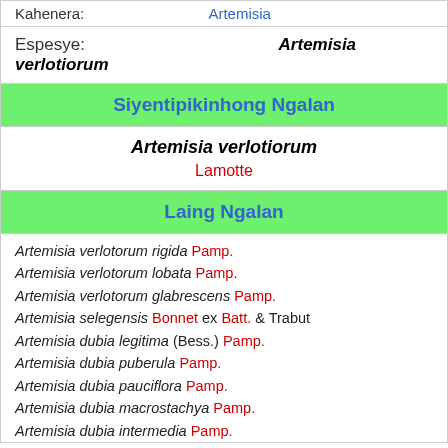| Kahenera: | Artemisia |
| Espesye: | Artemisia verlotiorum |
| Siyentipikinhong Ngalan |  |
| Artemisia verlotiorum | Lamotte |
| Laing Ngalan |  |
| Artemisia verlotorum rigida Pamp.
Artemisia verlotorum lobata Pamp.
Artemisia verlotorum glabrescens Pamp.
Artemisia selegensis Bonnet ex Batt. & Trabut
Artemisia dubia legitima (Bess.) Pamp.
Artemisia dubia puberula Pamp.
Artemisia dubia pauciflora Pamp.
Artemisia dubia macrostachya Pamp.
Artemisia dubia intermedia Pamp. |  |